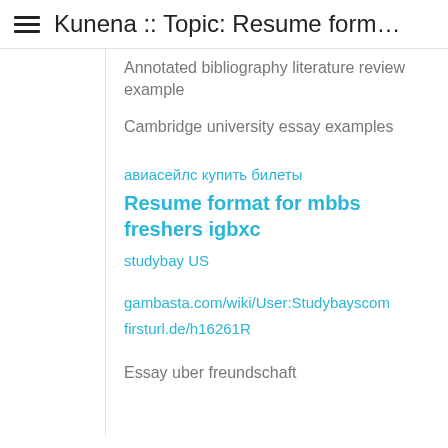Kunena :: Topic: Resume form…
Annotated bibliography literature review example
Cambridge university essay examples
авиасейлс купить билеты
Resume format for mbbs freshers igbxc
studybay US
gambasta.com/wiki/User:Studybayscom
firsturl.de/h16261R
Essay uber freundschaft